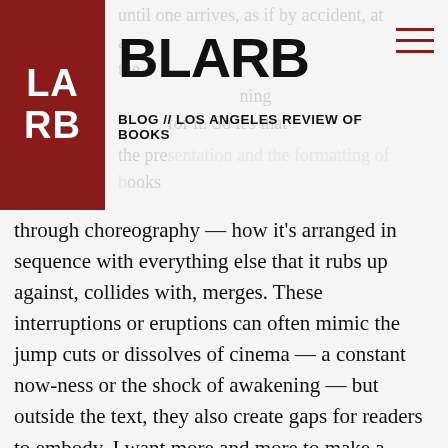BLARB — BLOG // LOS ANGELES REVIEW OF BOOKS
through choreography — how it's arranged in sequence with everything else that it rubs up against, collides with, merges. These interruptions or eruptions can often mimic the jump cuts or dissolves of cinema — a constant now-ness or the shock of awakening — but outside the text, they also create gaps for readers to embody. I want more and more to make a travel book — a book that travels, permutates, collapses but also unfolds as the reader moves along and inside. When I look back at old notebooks I am reminded of an instructor who told us, I think, that you should never be able to re-arrange the chapters in your novel. And I